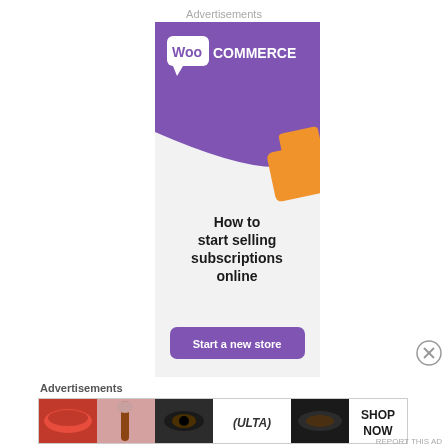Advertisements
[Figure (illustration): WooCommerce advertisement banner with purple background, WooCommerce logo with speech bubble icon, orange decorative shape, text 'How to start selling subscriptions online', and purple 'Start a new store' button]
Advertisements
[Figure (photo): Ulta Beauty advertisement banner showing beauty/makeup imagery with lips, makeup brushes, eyes, Ulta logo, and 'SHOP NOW' text]